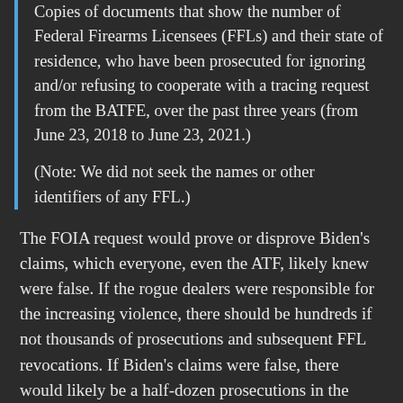Copies of documents that show the number of Federal Firearms Licensees (FFLs) and their state of residence, who have been prosecuted for ignoring and/or refusing to cooperate with a tracing request from the BATFE, over the past three years (from June 23, 2018 to June 23, 2021.) (Note: We did not seek the names or other identifiers of any FFL.)
The FOIA request would prove or disprove Biden's claims, which everyone, even the ATF, likely knew were false. If the rogue dealers were responsible for the increasing violence, there should be hundreds if not thousands of prosecutions and subsequent FFL revocations. If Biden's claims were false, there would likely be a half-dozen prosecutions in the entire